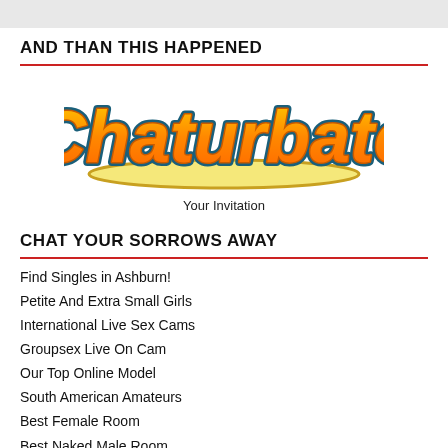AND THAN THIS HAPPENED
[Figure (logo): Chaturbate logo in orange and yellow bubble lettering with teal outline on white background]
Your Invitation
CHAT YOUR SORROWS AWAY
Find Singles in Ashburn!
Petite And Extra Small Girls
International Live Sex Cams
Groupsex Live On Cam
Our Top Online Model
South American Amateurs
Best Female Room
Best Naked Male Room